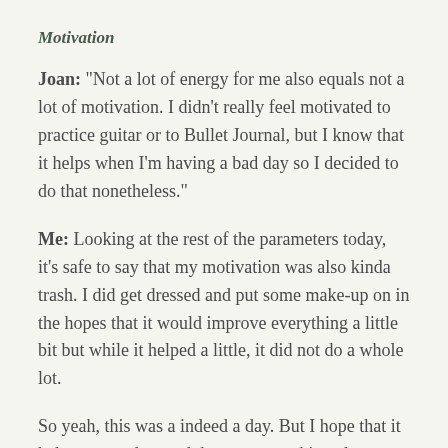Motivation
Joan: “Not a lot of energy for me also equals not a lot of motivation. I didn’t really feel motivated to practice guitar or to Bullet Journal, but I know that it helps when I’m having a bad day so I decided to do that nonetheless.”
Me: Looking at the rest of the parameters today, it’s safe to say that my motivation was also kinda trash. I did get dressed and put some make-up on in the hopes that it would improve everything a little bit but while it helped a little, it did not do a whole lot.
So yeah, this was a indeed a day. But I hope that it helps you understand that not everything always